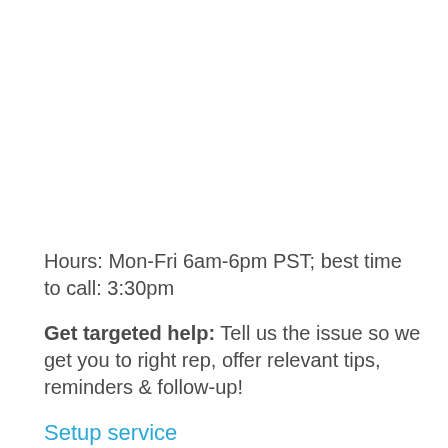Hours: Mon-Fri 6am-6pm PST; best time to call: 3:30pm
Get targeted help: Tell us the issue so we get you to right rep, offer relevant tips, reminders & follow-up!
Setup service
Service problem
Cancel service